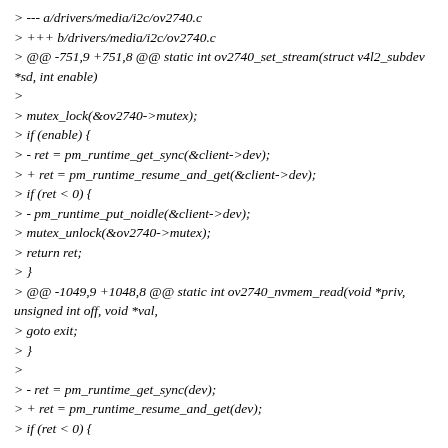> --- a/drivers/media/i2c/ov2740.c
> +++ b/drivers/media/i2c/ov2740.c
> @@ -751,9 +751,8 @@ static int ov2740_set_stream(struct v4l2_subdev *sd, int enable)
>
> mutex_lock(&ov2740->mutex);
> if (enable) {
> - ret = pm_runtime_get_sync(&client->dev);
> + ret = pm_runtime_resume_and_get(&client->dev);
> if (ret < 0) {
> - pm_runtime_put_noidle(&client->dev);
> mutex_unlock(&ov2740->mutex);
> return ret;
> }
> @@ -1049,9 +1048,8 @@ static int ov2740_nvmem_read(void *priv, unsigned int off, void *val,
> goto exit;
> }
>
> - ret = pm_runtime_get_sync(dev);
> + ret = pm_runtime_resume_and_get(dev);
> if (ret < 0) {
Drop the brackets?
> - pm_runtime_put_noidle(dev);